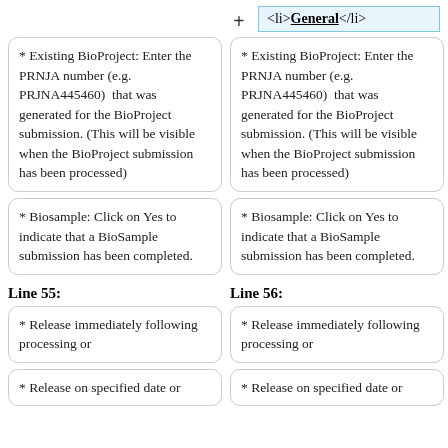+ (plus symbol indicating addition/change)
<li><u><b>General</b></u></li>
* Existing BioProject: Enter the PRNJA number (e.g. PRJNA445460)  that was generated for the BioProject submission. (This will be visible when the BioProject submission has been processed)
* Existing BioProject: Enter the PRNJA number (e.g. PRJNA445460)  that was generated for the BioProject submission. (This will be visible when the BioProject submission has been processed)
* Biosample: Click on Yes to indicate that a BioSample submission has been completed.
* Biosample: Click on Yes to indicate that a BioSample submission has been completed.
Line 55:
Line 56:
* Release immediately following processing or
* Release immediately following processing or
* Release on specified date or
* Release on specified date or